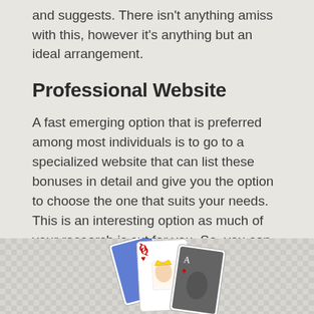and suggests. There isn't anything amiss with this, however it's anything but an ideal arrangement.
Professional Website
A fast emerging option that is preferred among most individuals is to go to a specialized website that can list these bonuses in detail and give you the option to choose the one that suits your needs. This is an interesting option as much of your research is cut for you. So, you can easily choose the perfect option that suits your requirements and the option that has the potential to get the perfect kind of online casino bonus.
[Figure (illustration): Playing cards showing a Queen of Hearts card among other cards, on a checkered background]